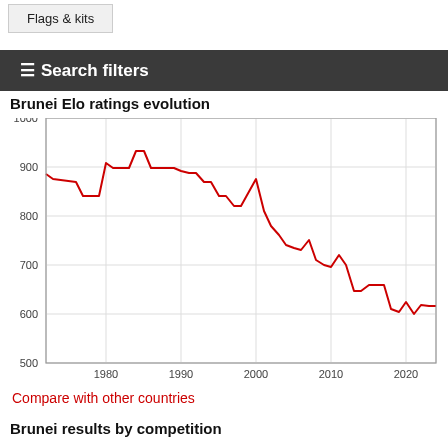Flags & kits
≡ Search filters
Brunei Elo ratings evolution
[Figure (line-chart): Brunei Elo ratings evolution]
Compare with other countries
Brunei results by competition